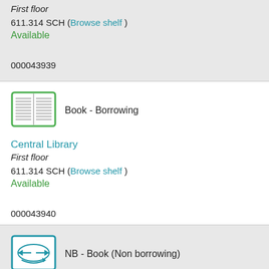First floor
611.314 SCH (Browse shelf )
Available
000043939
[Figure (illustration): Book icon for borrowing item type]
Book - Borrowing
Central Library
First floor
611.314 SCH (Browse shelf )
Available
000043940
[Figure (illustration): Book icon for non-borrowing item type]
NB - Book (Non borrowing)